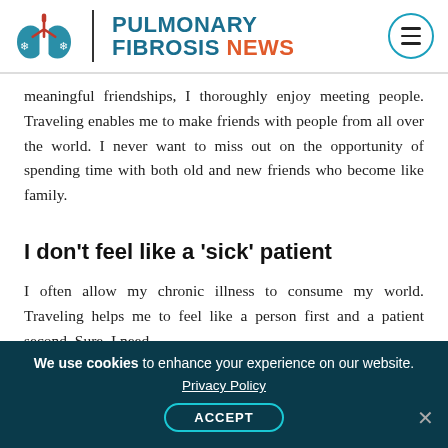[Figure (logo): Pulmonary Fibrosis News logo with lung icon and site name]
meaningful friendships, I thoroughly enjoy meeting people. Traveling enables me to make friends with people from all over the world. I never want to miss out on the opportunity of spending time with both old and new friends who become like family.
I don’t feel like a ‘sick’ patient
I often allow my chronic illness to consume my world. Traveling helps me to feel like a person first and a patient second. Sure, I need
We use cookies to enhance your experience on our website.
Privacy Policy
ACCEPT